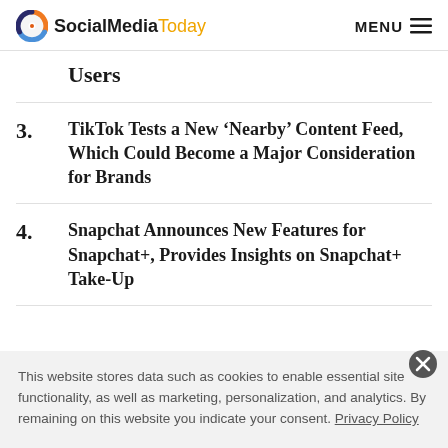SocialMediaToday MENU
Users
3. TikTok Tests a New ‘Nearby’ Content Feed, Which Could Become a Major Consideration for Brands
4. Snapchat Announces New Features for Snapchat+, Provides Insights on Snapchat+ Take-Up
This website stores data such as cookies to enable essential site functionality, as well as marketing, personalization, and analytics. By remaining on this website you indicate your consent. Privacy Policy